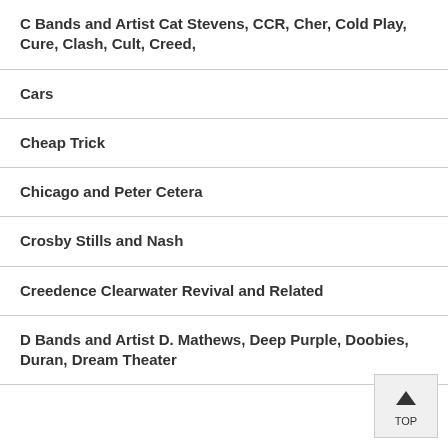C Bands and Artist Cat Stevens, CCR, Cher, Cold Play, Cure, Clash, Cult, Creed,
Cars
Cheap Trick
Chicago and Peter Cetera
Crosby Stills and Nash
Creedence Clearwater Revival and Related
D Bands and Artist D. Mathews, Deep Purple, Doobies, Duran, Dream Theater